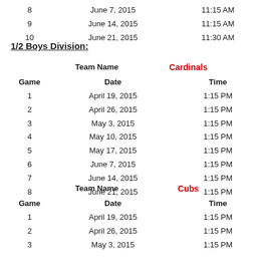| Game | Date | Time |
| --- | --- | --- |
| 8 | June 7, 2015 | 11:15 AM |
| 9 | June 14, 2015 | 11:15 AM |
| 10 | June 21, 2015 | 11:30 AM |
1/2 Boys Division:
Team Name   Cardinals
| Game | Date | Time |
| --- | --- | --- |
| 1 | April 19, 2015 | 1:15 PM |
| 2 | April 26, 2015 | 1:15 PM |
| 3 | May 3, 2015 | 1:15 PM |
| 4 | May 10, 2015 | 1:15 PM |
| 5 | May 17, 2015 | 1:15 PM |
| 6 | June 7, 2015 | 1:15 PM |
| 7 | June 14, 2015 | 1:15 PM |
| 8 | June 21, 2015 | 1:15 PM |
Team Name   Cubs
| Game | Date | Time |
| --- | --- | --- |
| 1 | April 19, 2015 | 1:15 PM |
| 2 | April 26, 2015 | 1:15 PM |
| 3 | May 3, 2015 | 1:15 PM |